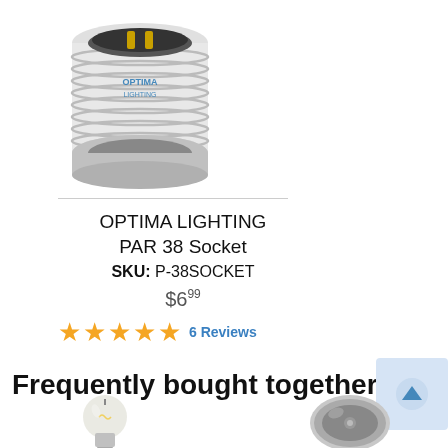[Figure (photo): PAR 38 socket lamp adapter product photo showing a white cylindrical socket with threaded base and gold contacts visible from top]
OPTIMA LIGHTING PAR 38 Socket
SKU: P-38SOCKET
$6.99
★★★★★ 6 Reviews
Frequently bought together
[Figure (photo): Small halogen or LED bulb product photo at bottom left]
[Figure (photo): Round flat socket or adapter product photo at bottom right]